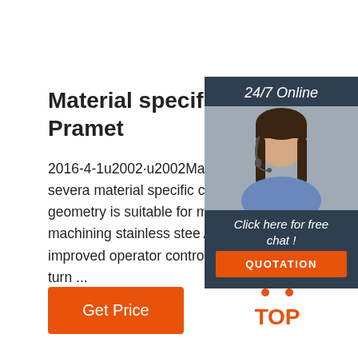Material specific carbide burrs - Dormer Pramet
2016-4-1u2002·u2002Material specific carbide burrs. We have added several material specific carbide rotary burrs assortment. The ST cut geometry is suitable for machining steels, while the design is for machining stainless steels. Available in a variety of shapes, both improved operator control and generate less temperature which, in turn ...
[Figure (photo): Customer service agent woman wearing headset, with 24/7 Online label and dark panel containing Click here for free chat and QUOTATION button]
Get Price
[Figure (logo): TOP logo with orange dots arranged in triangle above the word TOP]